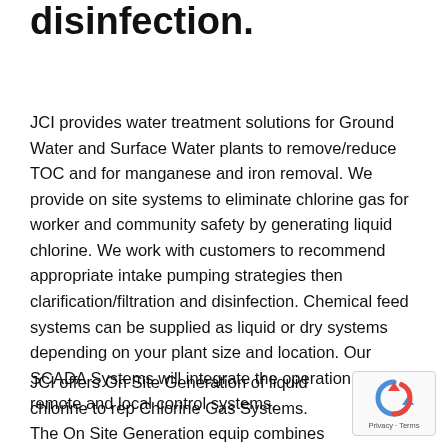disinfection.
JCI provides water treatment solutions for Ground Water and Surface Water plants to remove/reduce TOC and for manganese and iron removal. We provide on site systems to eliminate chlorine gas for worker and community safety by generating liquid chlorine. We work with customers to recommend appropriate intake pumping strategies then clarification/filtration and disinfection. Chemical feed systems can be supplied as liquid or dry systems depending on your plant size and location. Our SCADA Systems will integrate the operation with remote and local control systems.
JCI offers On Site Generation of liquid chlorine to rep... Chlorine Gas Systems. The On Site Generation equip... combines electricity and salt water to create a low